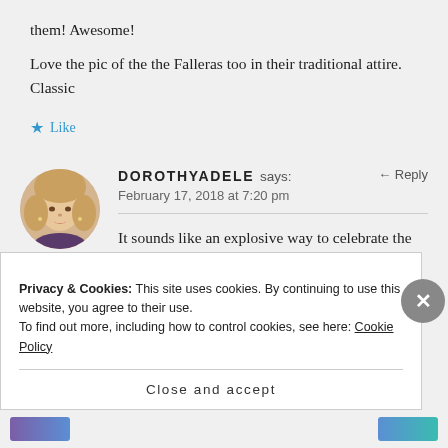them! Awesome!
Love the pic of the the Falleras too in their traditional attire. Classic
★ Like
DOROTHYADELE says:
February 17, 2018 at 7:20 pm
It sounds like an explosive way to celebrate the spring equinox. They
Privacy & Cookies: This site uses cookies. By continuing to use this website, you agree to their use.
To find out more, including how to control cookies, see here: Cookie Policy
Close and accept